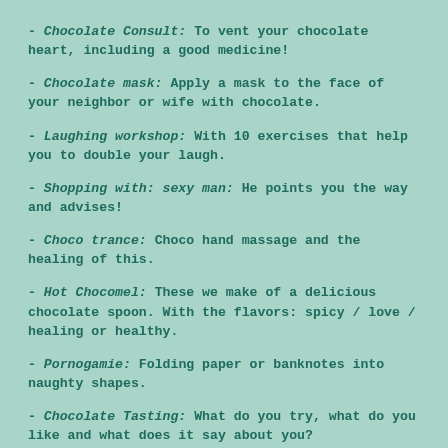- Chocolate Consult: To vent your chocolate heart, including a good medicine!
- Chocolate mask: Apply a mask to the face of your neighbor or wife with chocolate.
- Laughing workshop: With 10 exercises that help you to double your laugh.
- Shopping with: sexy man: He points you the way and advises!
- Choco trance: Choco hand massage and the healing of this.
- Hot Chocomel: These we make of a delicious chocolate spoon. With the flavors: spicy / love / healing or healthy.
- Pornogamie: Folding paper or banknotes into naughty shapes.
- Chocolate Tasting: What do you try, what do you like and what does it say about you?